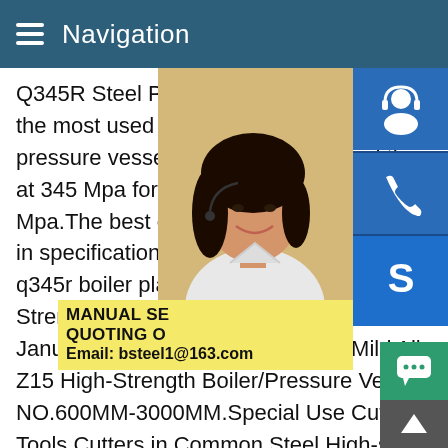Navigation
Q345R Steel Plate Application GB713 Q345R...the most used materials to build specified pressure vessels.Q345R steel owned the at 345 Mpa for thin thickness and tensile s Mpa.The best equivalent steel grade with in specification ASTM A516Welcome to bu q345r boiler plate on Mild Alloy Q245r/Q34 Strength Boiler/Pressure Vessel Steel Pla January 22,2019 with 0 Comment.Mild All Z15 High-Strength Boiler/Pressure Vessel Steel Plate Width NO.600MM-3000MM.Special Use Cutting Tools,Measuring Tools,Cutters in Common Steel,High-strength Steel Plate,WearSteel Plate For Boiler And Pressure Vessel Q345r S355j2 Q345R Plate,Q345R Steel Plates,Q345R Pressure Ve .Q345R Pressure Vessel Steel Plate,Q345R Plate Exporter,Q3
[Figure (photo): Customer service representative woman with headset, smiling]
[Figure (infographic): Blue customer service icon (headset/person)]
[Figure (infographic): Blue phone icon]
[Figure (infographic): Blue Skype icon]
MANUAL SE QUOTING O Email: bsteel1@163.com
[Figure (infographic): Green chat bubble button]
[Figure (infographic): Dark arrow-up back-to-top button]